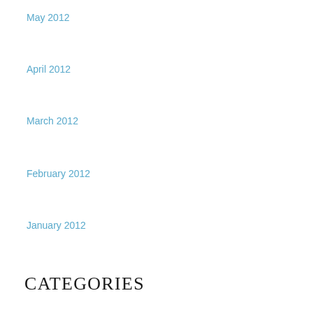May 2012
April 2012
March 2012
February 2012
January 2012
Categories
beauty
Body Field Alignment
Chemicals
children
constipation
depression
emotions